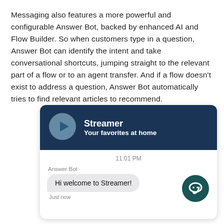Messaging also features a more powerful and configurable Answer Bot, backed by enhanced AI and Flow Builder. So when customers type in a question, Answer Bot can identify the intent and take conversational shortcuts, jumping straight to the relevant part of a flow or to an agent transfer. And if a flow doesn't exist to address a question, Answer Bot automatically tries to find relevant articles to recommend.
[Figure (screenshot): A mobile app messaging screenshot showing the Streamer app header (dark navy blue with a logo circle containing a play arrow, bold white text 'Streamer' and 'Your favorites at home'), a chat window with timestamp '11:01 PM', a label 'Answer Bot', a chat bubble 'Hi welcome to Streamer!', a 'Just now' timestamp, and a teal chat icon button in the bottom right corner.]